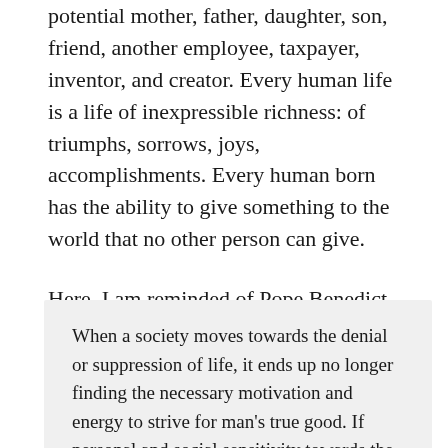potential mother, father, daughter, son, friend, another employee, taxpayer, inventor, and creator. Every human life is a life of inexpressible richness: of triumphs, sorrows, joys, accomplishments. Every human born has the ability to give something to the world that no other person can give.
Here, I am reminded of Pope Benedict XVI's words in Caritas in Veritate:
When a society moves towards the denial or suppression of life, it ends up no longer finding the necessary motivation and energy to strive for man's true good. If personal and social sensitivity towards the acceptance of new life is lost, then other forms